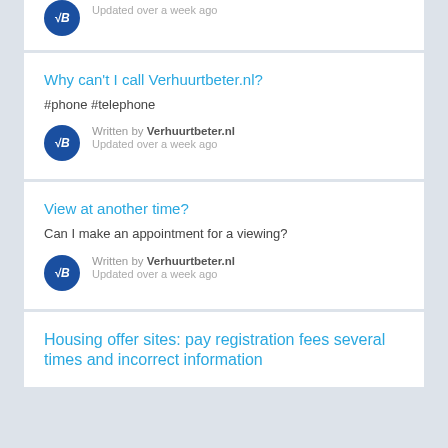Updated over a week ago
Why can't I call Verhuurtbeter.nl?
#phone #telephone
Written by Verhuurtbeter.nl
Updated over a week ago
View at another time?
Can I make an appointment for a viewing?
Written by Verhuurtbeter.nl
Updated over a week ago
Housing offer sites: pay registration fees several times and incorrect information